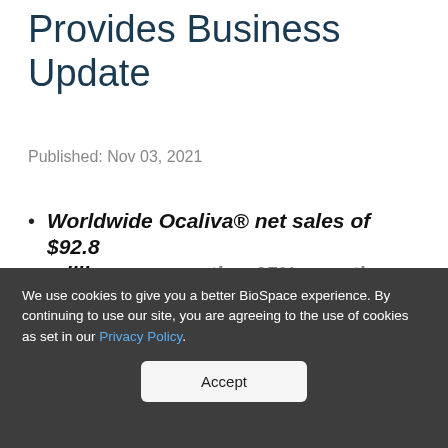Provides Business Update
Published: Nov 03, 2021
Worldwide Ocaliva® net sales of $92.8 million, representing 65% growth...
[Figure (infographic): Subscribe modal overlay with phone image and text: Subscribe: Market insights and trending stories for biopharma leaders]
We use cookies to give you a better BioSpace experience. By continuing to use our site, you are agreeing to the use of cookies as set in our Privacy Policy.
Accept